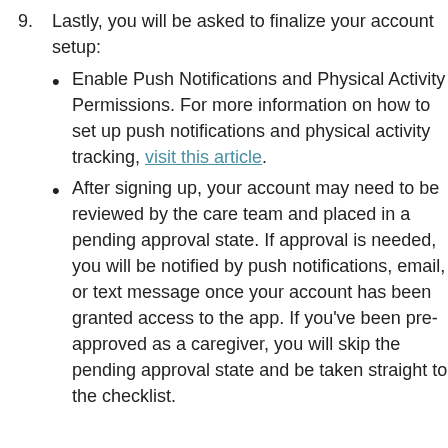9. Lastly, you will be asked to finalize your account setup:
Enable Push Notifications and Physical Activity Permissions. For more information on how to set up push notifications and physical activity tracking, visit this article.
After signing up, your account may need to be reviewed by the care team and placed in a pending approval state. If approval is needed, you will be notified by push notifications, email, or text message once your account has been granted access to the app. If you've been pre-approved as a caregiver, you will skip the pending approval state and be taken straight to the checklist.